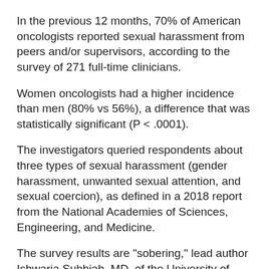In the previous 12 months, 70% of American oncologists reported sexual harassment from peers and/or supervisors, according to the survey of 271 full-time clinicians.
Women oncologists had a higher incidence than men (80% vs 56%), a difference that was statistically significant (P < .0001).
The investigators queried respondents about three types of sexual harassment (gender harassment, unwanted sexual attention, and sexual coercion), as defined in a 2018 report from the National Academies of Sciences, Engineering, and Medicine.
The survey results are "sobering," lead author Ishwaria Subbiah, MD, of the University of Texas MD Anderson Cancer Center in Houston, told Medscape Medical News. The full study will be presented as an oral presentation at ASCO.
"Sadly, both timely and timeless," tweeted medical oncologist Tatiana Prowell, MD, of Johns Hopkins University in Baltimore. Maryland, in response to the...